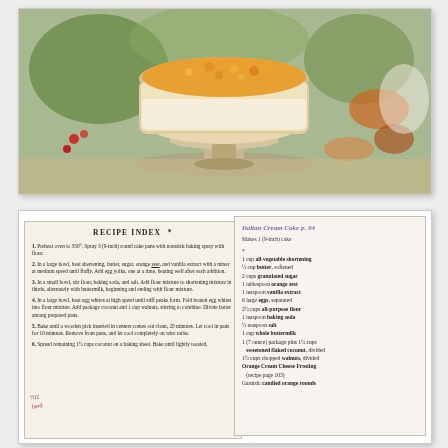[Figure (photo): Photograph of an Italian Cream Cake on a cake stand, decorated with orange-colored coconut topping, surrounded by autumn decorations including leaves and berries]
[Figure (photo): Scanned image showing two overlapping recipe cards: left card titled 'RECIPE INDEX' with numbered instructions for Italian Cream Cake, right card titled 'Italian Cream Cake p.94' listing ingredients including all-vegetable shortening, butter, granulated sugar, orange zest, vanilla extract, eggs, flour, baking soda, salt, buttermilk, sweetened flaked coconut, walnuts, Orange Cream Cheese Frosting, and candied orange rounds]